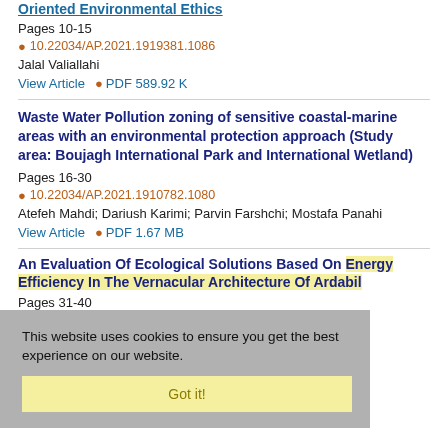Oriented Environmental Ethics
Pages 10-15
10.22034/AP.2021.1919381.1086
Jalal Valiallahi
View Article   PDF 589.92 K
Waste Water Pollution zoning of sensitive coastal-marine areas with an environmental protection approach (Study area: Boujagh International Park and International Wetland)
Pages 16-30
10.22034/AP.2021.1910782.1080
Atefeh Mahdi; Dariush Karimi; Parvin Farshchi; Mostafa Panahi
View Article   PDF 1.67 MB
This website uses cookies to ensure you get the best experience on our website.
Got it!
An Evaluation Of Ecological Solutions Based On Energy Efficiency In The Vernacular Architecture Of Ardabil
Pages 31-40